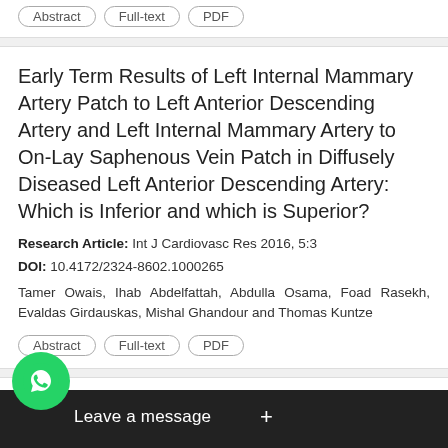Abstract | Full-text | PDF (partial, top of page)
Early Term Results of Left Internal Mammary Artery Patch to Left Anterior Descending Artery and Left Internal Mammary Artery to On-Lay Saphenous Vein Patch in Diffusely Diseased Left Anterior Descending Artery: Which is Inferior and which is Superior?
Research Article: Int J Cardiovasc Res 2016, 5:3
DOI: 10.4172/2324-8602.1000265
Tamer Owais, Ihab Abdelfattah, Abdulla Osama, Foad Rasekh, Evaldas Girdauskas, Mishal Ghandour and Thomas Kuntze
Abstract | Full-text | PDF
...nary Artery Disease Risk Factors among ...les in a Tertiary Cardiac Center in Nepal: A Case...
Rese...
[Figure (screenshot): WhatsApp 'Leave a message' chat bubble overlay with green WhatsApp icon and dark message bar with plus button]